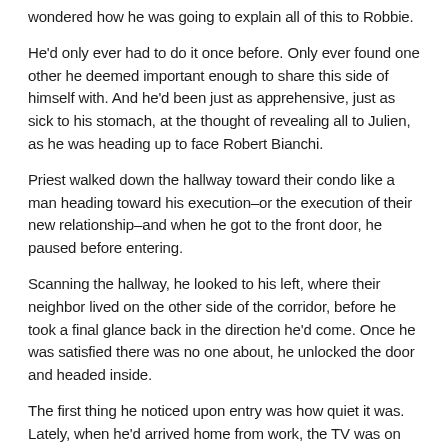wondered how he was going to explain all of this to Robbie.
He'd only ever had to do it once before. Only ever found one other he deemed important enough to share this side of himself with. And he'd been just as apprehensive, just as sick to his stomach, at the thought of revealing all to Julien, as he was heading up to face Robert Bianchi.
Priest walked down the hallway toward their condo like a man heading toward his execution–or the execution of their new relationship–and when he got to the front door, he paused before entering.
Scanning the hallway, he looked to his left, where their neighbor lived on the other side of the corridor, before he took a final glance back in the direction he'd come. Once he was satisfied there was no one about, he unlocked the door and headed inside.
The first thing he noticed upon entry was how quiet it was. Lately, when he'd arrived home from work, the TV was on and there was the sound of someone doing something or other in the living room or kitchen. But not this afternoon.